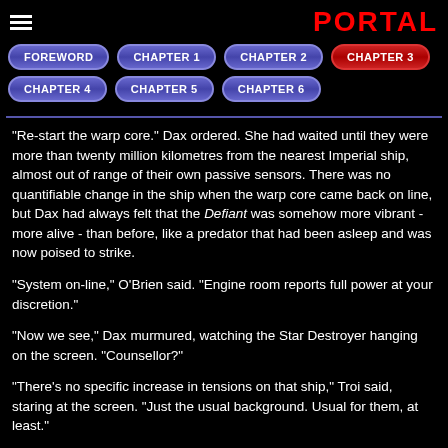PORTAL
FOREWORD
CHAPTER 1
CHAPTER 2
CHAPTER 3
CHAPTER 4
CHAPTER 5
CHAPTER 6
"Re-start the warp core." Dax ordered. She had waited until they were more than twenty million kilometres from the nearest Imperial ship, almost out of range of their own passive sensors. There was no quantifiable change in the ship when the warp core came back on line, but Dax had always felt that the Defiant was somehow more vibrant - more alive - than before, like a predator that had been asleep and was now poised to strike.
"System on-line," O'Brien said. "Engine room reports full power at your discretion."
"Now we see," Dax murmured, watching the Star Destroyer hanging on the screen. "Counsellor?"
"There's no specific increase in tensions on that ship," Troi said, staring at the screen. "Just the usual background. Usual for them, at least."